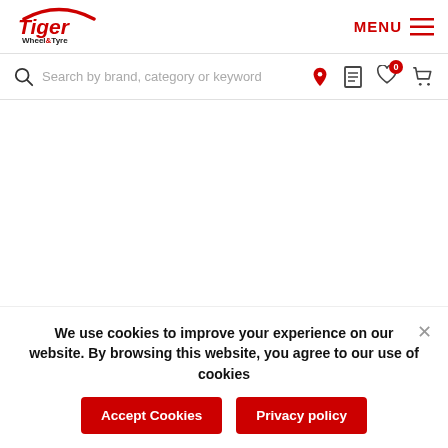[Figure (logo): Tiger Wheel & Tyre logo — red italic Tiger text with arc above, Wheel&Tyre in smaller black text below]
MENU ☰
Search by brand, category or keyword
We use cookies to improve your experience on our website. By browsing this website, you agree to our use of cookies
Accept Cookies
Privacy policy